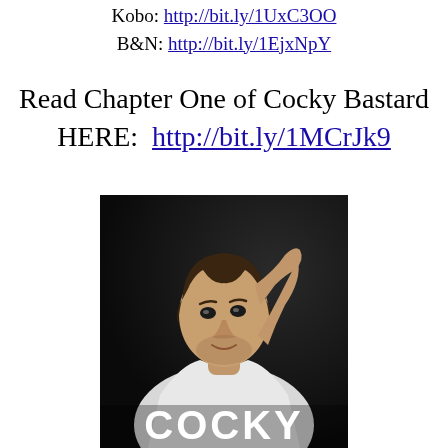Kobo: http://bit.ly/1UxC3OO
B&N: http://bit.ly/1EjxNpY
Read Chapter One of Cocky Bastard HERE: http://bit.ly/1MCrJk9
[Figure (photo): Book cover of 'Cocky Bastard' showing a young man with dark hair, hand behind head, wearing a white tank top, posed against a dark background. The word 'COCKY' appears in large white bold text at the bottom of the cover.]